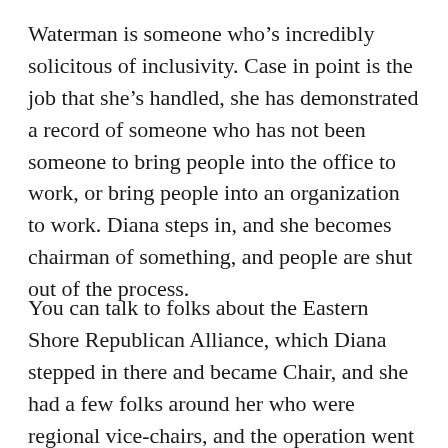Waterman is someone who's incredibly solicitous of inclusivity. Case in point is the job that she's handled, she has demonstrated a record of someone who has not been someone to bring people into the office to work, or bring people into an organization to work. Diana steps in, and she becomes chairman of something, and people are shut out of the process.
You can talk to folks about the Eastern Shore Republican Alliance, which Diana stepped in there and became Chair, and she had a few folks around her who were regional vice-chairs, and the operation went nowhere quickly because it became bureaucracy. It became